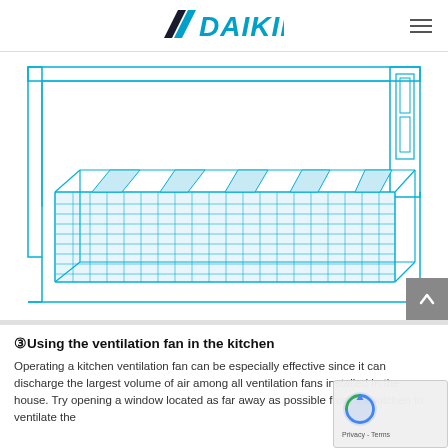DAIKIN
[Figure (engineering-diagram): Technical line drawing in blue/cyan of a ceiling-mounted air conditioning unit shown in perspective cross-section view, with visible louvres/vanes on top and a grid-pattern filter panel at the bottom.]
③Using the ventilation fan in the kitchen
Operating a kitchen ventilation fan can be especially effective since it can discharge the largest volume of air among all ventilation fans installed in the house. Try opening a window located as far away as possible from the kitchen to ventilate the